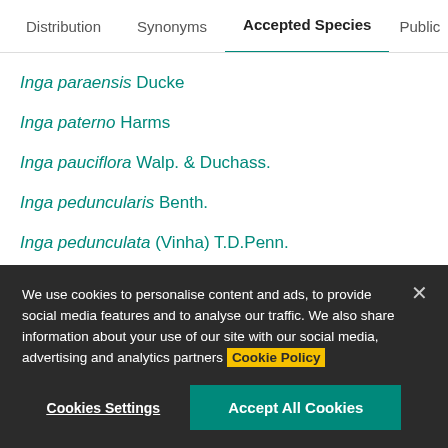Distribution | Synonyms | Accepted Species | Publica
Inga paraensis Ducke
Inga paterno Harms
Inga pauciflora Walp. & Duchass.
Inga peduncularis Benth.
Inga pedunculata (Vinha) T.D.Penn.
Inga pellicula T.D.Penn.
Inga pezizifera Benth.
We use cookies to personalise content and ads, to provide social media features and to analyse our traffic. We also share information about your use of our site with our social media, advertising and analytics partners Cookie Policy